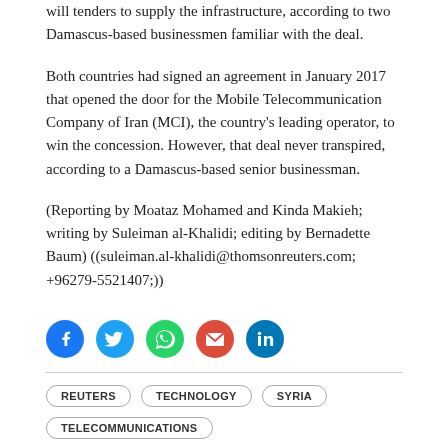will tenders to supply the infrastructure, according to two Damascus-based businessmen familiar with the deal.
Both countries had signed an agreement in January 2017 that opened the door for the Mobile Telecommunication Company of Iran (MCI), the country's leading operator, to win the concession. However, that deal never transpired, according to a Damascus-based senior businessman.
(Reporting by Moataz Mohamed and Kinda Makieh; writing by Suleiman al-Khalidi; editing by Bernadette Baum) ((suleiman.al-khalidi@thomsonreuters.com; +96279-5521407;))
[Figure (infographic): Row of five social media share icons: Facebook (blue circle), Twitter (cyan circle), WhatsApp (green circle), Email (red circle), LinkedIn (blue circle)]
REUTERS
TECHNOLOGY
SYRIA
TELECOMMUNICATIONS